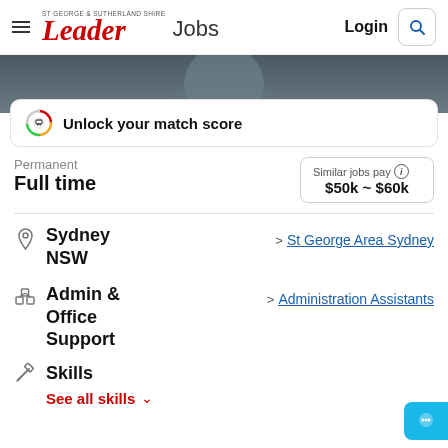St George & Sutherland Shire Leader Jobs | Login
[Figure (photo): Person in business attire, cropped hero image background]
Unlock your match score
Permanent
Full time
Similar jobs pay $50k ~ $60k
Sydney NSW
> St George Area Sydney
Admin & Office Support
> Administration Assistants
Skills
See all skills